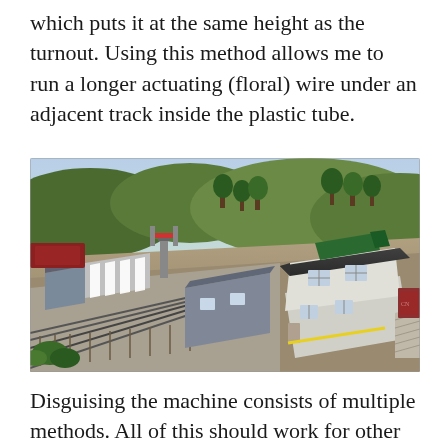which puts it at the same height as the turnout. Using this method allows me to run a longer actuating (floral) wire under an adjacent track inside the plastic tube.
[Figure (photo): Aerial view of a detailed model railway layout showing multiple tracks, turnouts, a signal tower building, smaller outbuildings, green hills in the background, and a locomotive visible on one track.]
Disguising the machine consists of multiple methods. All of this should work for other types